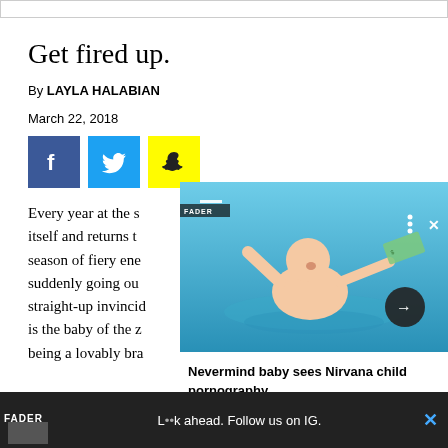Get fired up.
By LAYLA HALABIAN
March 22, 2018
[Figure (illustration): Social media share buttons: Facebook (blue), Twitter (light blue), Snapchat (yellow)]
[Figure (photo): Nirvana Nevermind album cover baby swimming in pool reaching for dollar bill, with FADER overlay and caption 'Nevermind baby sees Nirvana child pornography']
Every year at the s itself and returns t season of fiery ene suddenly going ou straight-up invincid is the baby of the z being a lovably bra
[Figure (screenshot): FADER advertisement banner at bottom: 'L••k ahead. Follow us on IG.']